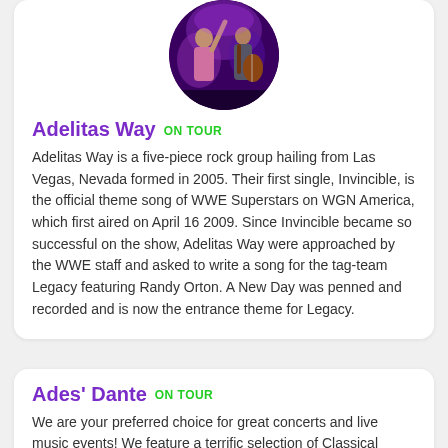[Figure (photo): Circular cropped photo of rock musicians performing on stage with purple lighting, one playing guitar]
Adelitas Way ON TOUR
Adelitas Way is a five-piece rock group hailing from Las Vegas, Nevada formed in 2005. Their first single, Invincible, is the official theme song of WWE Superstars on WGN America, which first aired on April 16 2009. Since Invincible became so successful on the show, Adelitas Way were approached by the WWE staff and asked to write a song for the tag-team Legacy featuring Randy Orton. A New Day was penned and recorded and is now the entrance theme for Legacy.
Ades' Dante ON TOUR
We are your preferred choice for great concerts and live music events! We feature a terrific selection of Classical concerts for all your entertainment pleasure. Whether you are interested in Ades' Dante or any number of other popular bands, artists or performers that include exciting